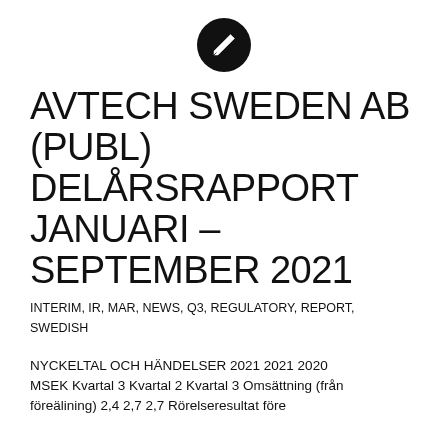[Figure (logo): Black circle with white pencil/edit icon in the center]
AVTECH SWEDEN AB (PUBL) DELÅRSRAPPORT JANUARI – SEPTEMBER 2021
INTERIM, IR, MAR, NEWS, Q3, REGULATORY, REPORT, SWEDISH
NYCKELTAL OCH HÄNDELSER 2021 2021 2020 MSEK Kvartal 3 Kvartal 2 Kvartal 3 Omsättning (från föreälining) 2,4 2,7 2,7 Rörelseresultat före